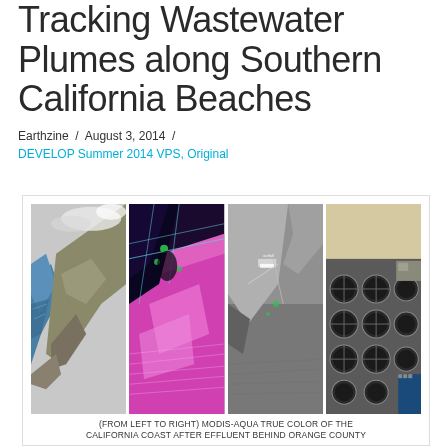Tracking Wastewater Plumes along Southern California Beaches
Earthzine / August 3, 2014 /
DEVELOP Summer 2014 VPS, Original
[Figure (photo): Four panel composite image showing (from left to right): MODIS-Aqua true color image of the California coast, a false-color satellite image with pink/magenta tones showing coastal features, a grayscale SAR or radar image of coastline, and an aerial photograph of circular wastewater treatment tanks.]
(FROM LEFT TO RIGHT) MODIS-AQUA TRUE COLOR OF THE CALIFORNIA COAST AFTER EFFLUENT BEHIND ORANGE COUNTY